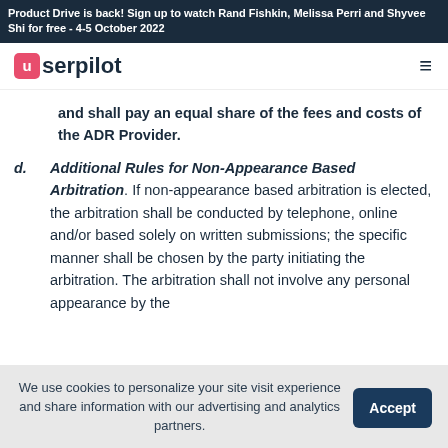Product Drive is back! Sign up to watch Rand Fishkin, Melissa Perri and Shyvee Shi for free - 4-5 October 2022
[Figure (logo): Userpilot logo with pink u icon and dark text]
and shall pay an equal share of the fees and costs of the ADR Provider.
d. Additional Rules for Non-Appearance Based Arbitration. If non-appearance based arbitration is elected, the arbitration shall be conducted by telephone, online and/or based solely on written submissions; the specific manner shall be chosen by the party initiating the arbitration. The arbitration shall not involve any personal appearance by the
We use cookies to personalize your site visit experience and share information with our advertising and analytics partners.